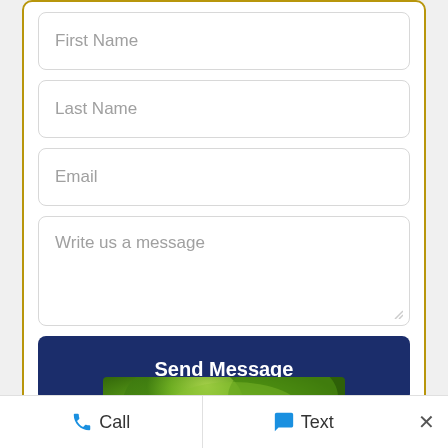First Name
Last Name
Email
Write us a message
Send Message
[Figure (photo): Partial photo of a nature/outdoor scene with green foliage, partially visible at bottom of form area]
Call   Text   ×